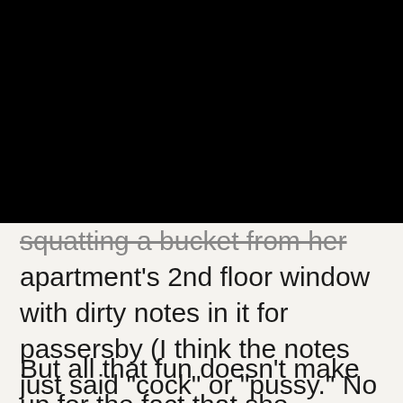Notice
This website or its third-party tools use cookies, which are necessary to its functioning and required to achieve the purposes illustrated in the cookie policy. If you want to know more or withdraw your consent to all or some of the cookies, please refer to the cookie policy.
By closing this banner, scrolling this page, clicking a link or continuing to browse otherwise, you agree to the use of cookies.
squatting a bucket from her apartment’s 2nd floor window with dirty notes in it for passersby (I think the notes just said “cock” or “pussy.” No one bit.)
But all that fun doesn’t make up for the fact that she dumped me for a new best friend who